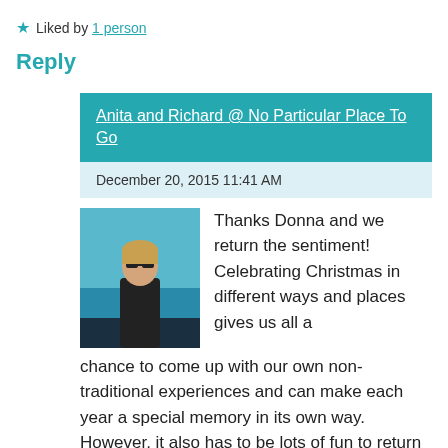★ Liked by 1 person
Reply
Anita and Richard @ No Particular Place To Go
December 20, 2015 11:41 AM
[Figure (photo): Profile photo of a woman with sunglasses standing outdoors near blue water]
Thanks Donna and we return the sentiment! Celebrating Christmas in different ways and places gives us all a chance to come up with our own non-traditional experiences and can make each year a special memory in its own way. However, it also has to be lots of fun to return to your own traditions, dig out treasured ornaments, traipse down memory